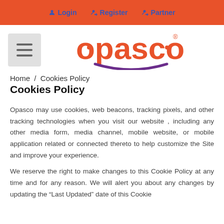Login   Register   Partner
[Figure (logo): Opasco logo with orange text and purple smile accent, with hamburger menu icon to the left]
Home / Cookies Policy
Cookies Policy
Opasco may use cookies, web beacons, tracking pixels, and other tracking technologies when you visit our website , including any other media form, media channel, mobile website, or mobile application related or connected thereto to help customize the Site and improve your experience.
We reserve the right to make changes to this Cookie Policy at any time and for any reason. We will alert you about any changes by updating the “Last Updated” date of this Cookie